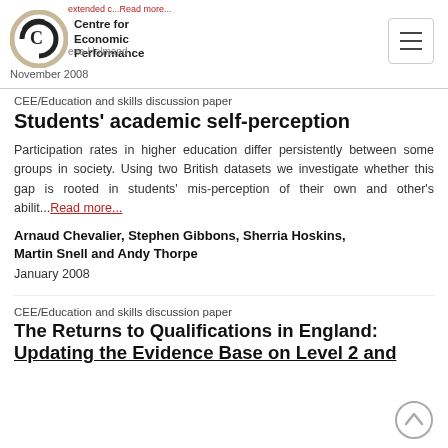Centre for Economic Performance | November 2008
CEE/Education and skills discussion paper
Students' academic self-perception
Participation rates in higher education differ persistently between some groups in society. Using two British datasets we investigate whether this gap is rooted in students' mis-perception of their own and other's abilit... Read more...
Arnaud Chevalier, Stephen Gibbons, Sherria Hoskins, Martin Snell and Andy Thorpe
January 2008
CEE/Education and skills discussion paper
The Returns to Qualifications in England: Updating the Evidence Base on Level 2 and